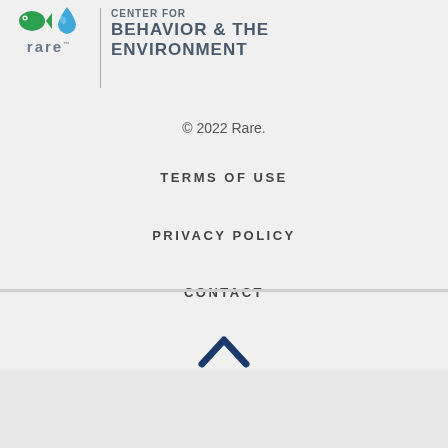[Figure (logo): Rare organization logo with green fish, blue water drop icons and 'rare' text, plus divider line and 'CENTER FOR BEHAVIOR & THE ENVIRONMENT' text]
© 2022 Rare.
TERMS OF USE
PRIVACY POLICY
CONTACT
[Figure (other): Dark blue upward chevron/caret arrow icon]